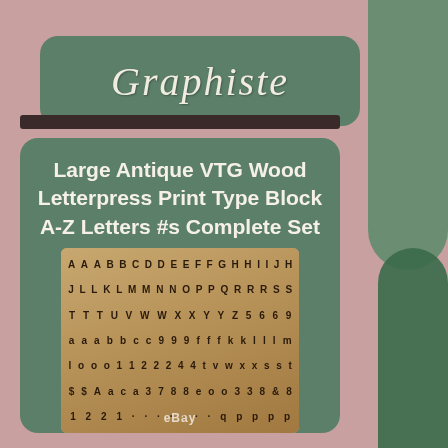Graphiste
Large Antique VTG Wood Letterpress Print Type Block A-Z Letters #s Complete Set
[Figure (photo): Photo of antique wood letterpress print type blocks arranged in rows on a wooden tray, showing A-Z letters and numbers, with eBay watermark at bottom]